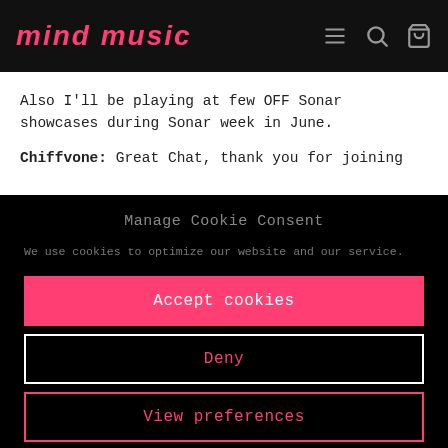MIND MUSIC
Also I'll be playing at few OFF Sonar showcases during Sonar week in June.
Chiffvone: Great Chat, thank you for joining
Manage Cookie Consent
We use cookies to optimize our website and our service.
Accept cookies
Deny
View preferences